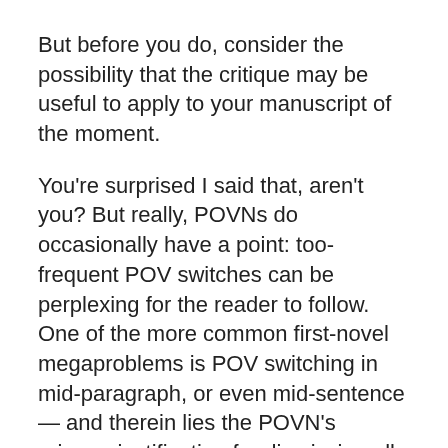But before you do, consider the possibility that the critique may be useful to apply to your manuscript of the moment.
You're surprised I said that, aren't you? But really, POVNs do occasionally have a point: too-frequent POV switches can be perplexing for the reader to follow. One of the more common first-novel megaproblems is POV switching in mid-paragraph, or even mid-sentence — and therein lies the POVN's primary justification for dismissing all multiple POV narratives as poor writing.
But heck, that's what the